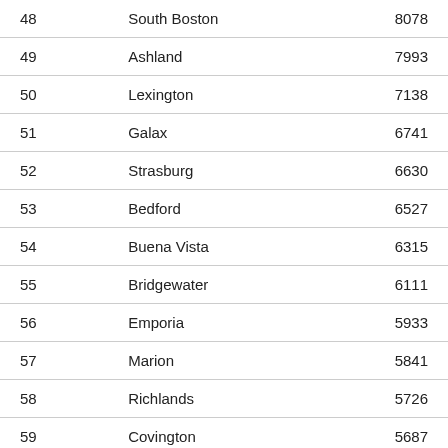| Rank | Name | Population |
| --- | --- | --- |
| 48 | South Boston | 8078 |
| 49 | Ashland | 7993 |
| 50 | Lexington | 7138 |
| 51 | Galax | 6741 |
| 52 | Strasburg | 6630 |
| 53 | Bedford | 6527 |
| 54 | Buena Vista | 6315 |
| 55 | Bridgewater | 6111 |
| 56 | Emporia | 5933 |
| 57 | Marion | 5841 |
| 58 | Richlands | 5726 |
| 59 | Covington | 5687 |